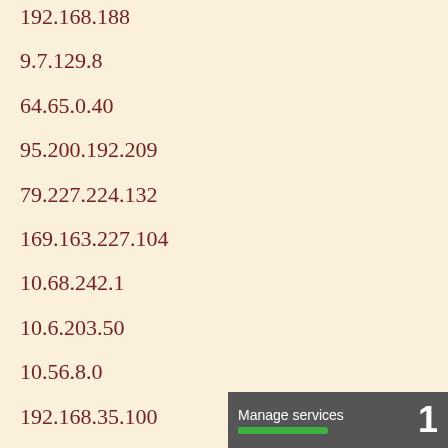192.168.188
9.7.129.8
64.65.0.40
95.200.192.209
79.227.224.132
169.163.227.104
10.68.242.1
10.6.203.50
10.56.8.0
192.168.35.100
10.69.71.60
10.120.81.60
Manage services 1